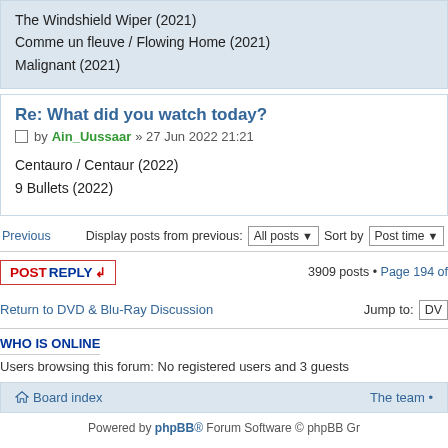The Windshield Wiper (2021)
Comme un fleuve / Flowing Home (2021)
Malignant (2021)
Re: What did you watch today?
by Ain_Uussaar » 27 Jun 2022 21:21
Centauro / Centaur (2022)
9 Bullets (2022)
Previous   Display posts from previous: All posts ▾   Sort by   Post time ▾
POSTREPLY ↲   3909 posts • Page 194 of
Return to DVD & Blu-Ray Discussion   Jump to: DV
WHO IS ONLINE
Users browsing this forum: No registered users and 3 guests
Board index   The team •
Powered by phpBB® Forum Software © phpBB Gr